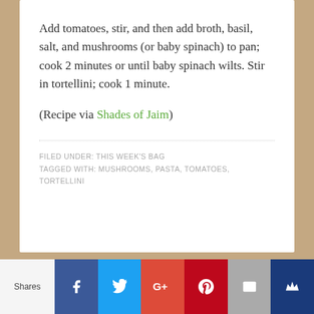Add tomatoes, stir, and then add broth, basil, salt, and mushrooms (or baby spinach) to pan; cook 2 minutes or until baby spinach wilts. Stir in tortellini; cook 1 minute.
(Recipe via Shades of Jaim)
FILED UNDER: THIS WEEK'S BAG
TAGGED WITH: MUSHROOMS, PASTA, TOMATOES, TORTELLINI
Shares